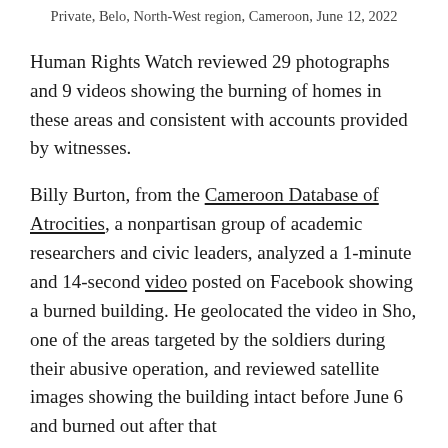Private, Belo, North-West region, Cameroon, June 12, 2022
Human Rights Watch reviewed 29 photographs and 9 videos showing the burning of homes in these areas and consistent with accounts provided by witnesses.
Billy Burton, from the Cameroon Database of Atrocities, a nonpartisan group of academic researchers and civic leaders, analyzed a 1-minute and 14-second video posted on Facebook showing a burned building. He geolocated the video in Sho, one of the areas targeted by the soldiers during their abusive operation, and reviewed satellite images showing the building intact before June 6 and burned out after that